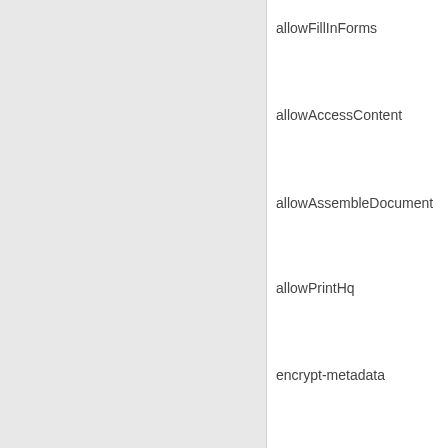allowFillInForms
allowAccessContent
allowAssembleDocument
allowPrintHq
encrypt-metadata
Note
Encryption is enabled as soon as one